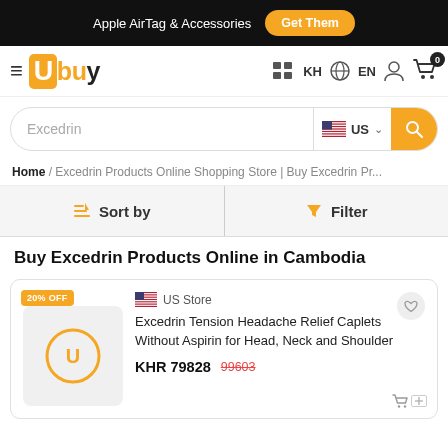Apple AirTag & Accessories  Get Them
[Figure (logo): Ubuy logo with yellow background and hamburger menu icon]
KH  EN  user icon  cart 0
Excedrin  US  search button
Home / Excedrin Products Online Shopping Store | Buy Excedrin Pr...
Sort by  Filter
Buy Excedrin Products Online in Cambodia
20% OFF  US Store  Excedrin Tension Headache Relief Caplets Without Aspirin for Head, Neck and Shoulder  KHR 79828  99603